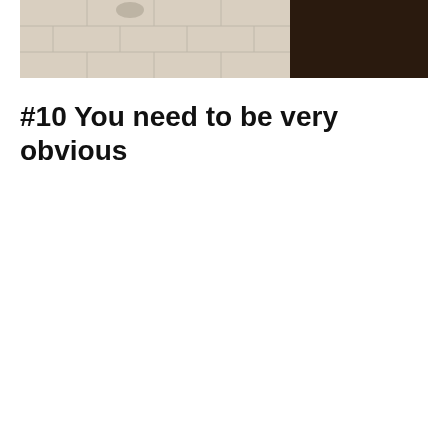[Figure (photo): A photo showing a light-colored tile floor on the left portion and a dark brown surface (possibly a door or wall) on the right portion. There appears to be a small object on the tile floor.]
#10 You need to be very obvious